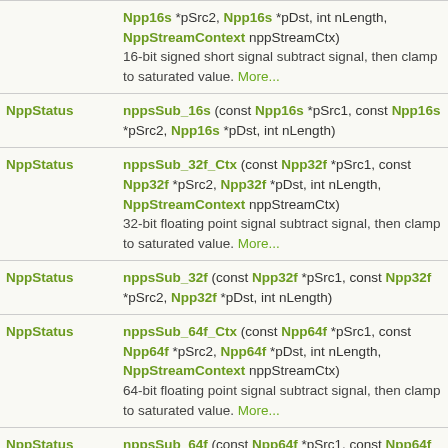| Return | Function |
| --- | --- |
| NppStatus | nppsSub_16s_Ctx (const Npp16s *pSrc1, const Npp16s *pSrc2, Npp16s *pDst, int nLength, NppStreamContext nppStreamCtx)
16-bit signed short signal subtract signal, then clamp to saturated value. More... |
| NppStatus | nppsSub_16s (const Npp16s *pSrc1, const Npp16s *pSrc2, Npp16s *pDst, int nLength) |
| NppStatus | nppsSub_32f_Ctx (const Npp32f *pSrc1, const Npp32f *pSrc2, Npp32f *pDst, int nLength, NppStreamContext nppStreamCtx)
32-bit floating point signal subtract signal, then clamp to saturated value. More... |
| NppStatus | nppsSub_32f (const Npp32f *pSrc1, const Npp32f *pSrc2, Npp32f *pDst, int nLength) |
| NppStatus | nppsSub_64f_Ctx (const Npp64f *pSrc1, const Npp64f *pSrc2, Npp64f *pDst, int nLength, NppStreamContext nppStreamCtx)
64-bit floating point signal subtract signal, then clamp to saturated value. More... |
| NppStatus | nppsSub_64f (const Npp64f *pSrc1, const Npp64f |